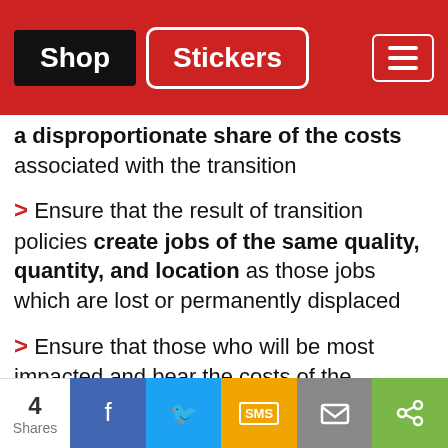Shop | Stickers
a disproportionate share of the costs associated with the transition
> Ensure that the result of transition policies create jobs of the same quality, quantity, and location as those jobs which are lost or permanently displaced
> Ensure that those who will be most impacted and bear the costs of the transition to a low carbon economy have a chance to meaningfully participate in the process
> Ensure that the processes and policies are
4 Shares | Facebook | Twitter | SMS | Mail | Share